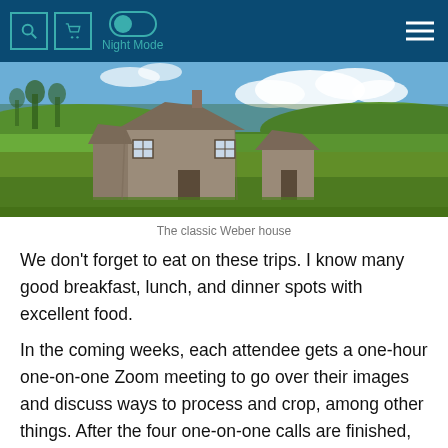Night Mode
[Figure (photo): An abandoned weathered wooden farmhouse and smaller outbuilding in a green field under a blue sky with white clouds.]
The classic Weber house
We don't forget to eat on these trips. I know many good breakfast, lunch, and dinner spots with excellent food.
In the coming weeks, each attendee gets a one-hour one-on-one Zoom meeting to go over their images and discuss ways to process and crop, among other things. After the four one-on-one calls are finished, we will do a reunion zoom call where we will share our images with the group. I'll also publish an article on photoBYL with their pictures so